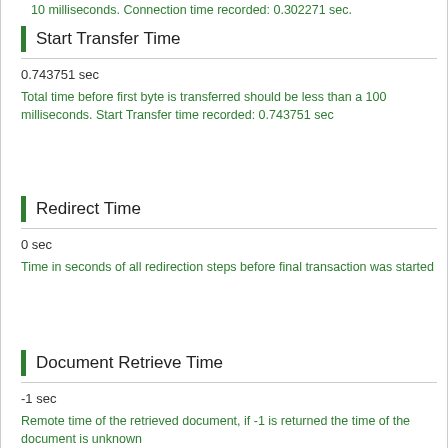10 milliseconds. Connection time recorded: 0.302271 sec.
Start Transfer Time
0.743751 sec
Total time before first byte is transferred should be less than a 100 milliseconds. Start Transfer time recorded: 0.743751 sec
Redirect Time
0 sec
Time in seconds of all redirection steps before final transaction was started
Document Retrieve Time
-1 sec
Remote time of the retrieved document, if -1 is returned the time of the document is unknown